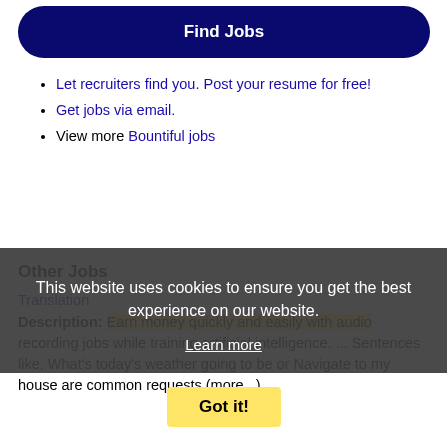[Figure (screenshot): Find Jobs dark navy rounded button]
Let recruiters find you. Post your resume for free!
Get jobs via email.
View more Bountiful jobs
Other Jobs
Translation
Description: Earn money quickly and easily with audio recording jobs while training artificial intelligence. ... Sentences like, What's today's weather going to be or Navigate to my house are common requests (more...)
This website uses cookies to ensure you get the best experience on our website.
Learn more
Got it!